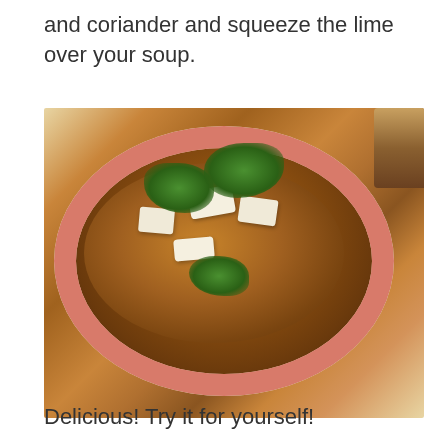and coriander and squeeze the lime over your soup.
[Figure (photo): A bowl of golden-brown soup garnished with white tofu cubes and fresh green cilantro leaves, served in a white bowl with a pink/red rim, on a white surface.]
Delicious! Try it for yourself!